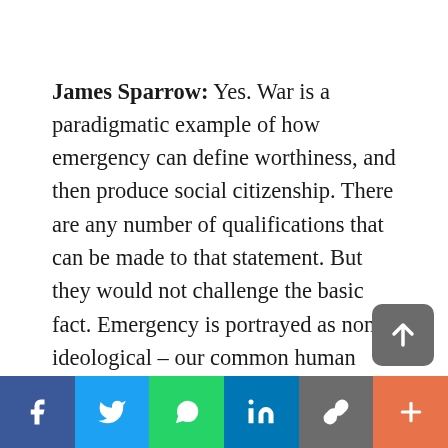James Sparrow: Yes. War is a paradigmatic example of how emergency can define worthiness, and then produce social citizenship. There are any number of qualifications that can be made to that statement. But they would not challenge the basic fact. Emergency is portrayed as non ideological – our common human vulnerability exposes us across lines of class, race, gender, and party. Of course, veterans were the object of an intense ideological fight: the New Deal...